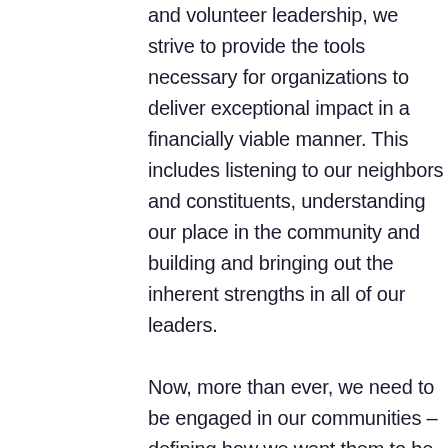and volunteer leadership, we strive to provide the tools necessary for organizations to deliver exceptional impact in a financially viable manner. This includes listening to our neighbors and constituents, understanding our place in the community and building and bringing out the inherent strengths in all of our leaders.

Now, more than ever, we need to be engaged in our communities – defining how we want them to be, being inclusive of multiple perspectives and working together for the benefit of all community members. It starts with being engaged. Vibrant communities don't just happen. They start with people stepping forward. As we enter our 10th year, all of us at Spectrum are grateful to those